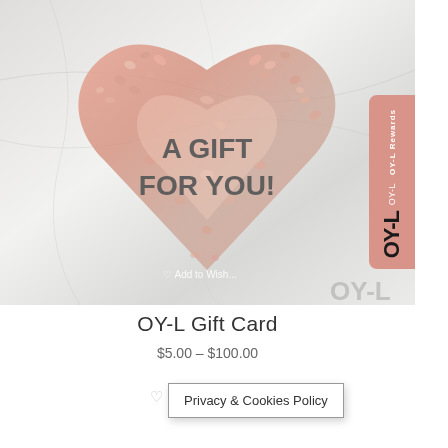[Figure (photo): Heart shape made of rose-pink salt crystals on marble background with text 'A GIFT FOR YOU!' overlaid in gray. Bottom shows 'Add to Wishlist' link and partial OY-L logo watermark.]
OY-L Gift Card
$5.00 – $100.00
Privacy & Cookies Policy